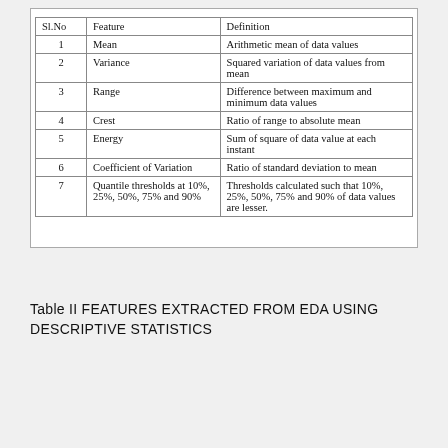| Sl.No | Feature | Definition |
| --- | --- | --- |
| 1 | Mean | Arithmetic mean of data values |
| 2 | Variance | Squared variation of data values from mean |
| 3 | Range | Difference between maximum and minimum data values |
| 4 | Crest | Ratio of range to absolute mean |
| 5 | Energy | Sum of square of data value at each instant |
| 6 | Coefficient of Variation | Ratio of standard deviation to mean |
| 7 | Quantile thresholds at 10%, 25%, 50%, 75% and 90% | Thresholds calculated such that 10%, 25%, 50%, 75% and 90% of data values are lesser. |
Table II FEATURES EXTRACTED FROM EDA USING DESCRIPTIVE STATISTICS